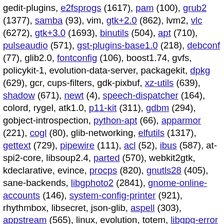gedit-plugins, e2fsprogs (1617), pam (100), grub2 (1377), samba (93), vim, gtk+2.0 (862), lvm2, vlc (6272), gtk+3.0 (1693), binutils (504), apt (710), pulseaudio (571), gst-plugins-base1.0 (218), debconf (77), glib2.0, fontconfig (106), boost1.74, gvfs, policykit-1, evolution-data-server, packagekit, dpkg (629), gcr, cups-filters, gdk-pixbuf, xz-utils (639), shadow (671), newt (4), speech-dispatcher (164), colord, rygel, atk1.0, p11-kit (311), gdbm (294), gobject-introspection, python-apt (66), apparmor (221), cogl (80), glib-networking, elfutils (1317), gettext (729), pipewire (111), acl (52), ibus (587), at-spi2-core, libsoup2.4, parted (570), webkit2gtk, kdeclarative, evince, procps (820), gnutls28 (405), sane-backends, libgphoto2 (2841), gnome-online-accounts (146), system-config-printer (921), rhythmbox, libsecret, json-glib, aspell (303), appstream (565), linux, evolution, totem, libgpg-error (489), libwnck3, attr (30), vte2.91, git (96), texlive-bin (31), gnome-keyring (98), software-properties (171), upower, gst-plugins-good1.0 (103), iputils (247), gnome-themes-extra, network-manager (2250), v4l-utils (414)